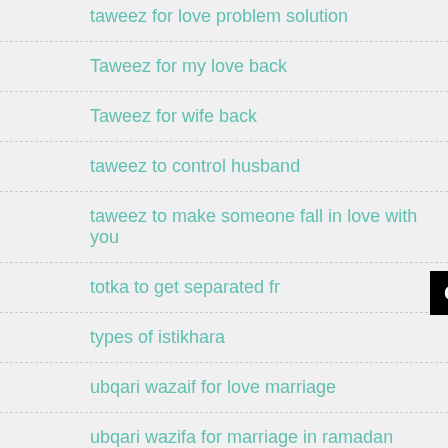taweez for love problem solution
Taweez for my love back
Taweez for wife back
taweez to control husband
taweez to make someone fall in love with you
totka to get separated fr…
[Figure (screenshot): Black button overlay with text 'Click to Consult on Whatsapp']
types of istikhara
ubqari wazaif for love marriage
ubqari wazifa for marriage in ramadan
ubqari wazifa for shadi